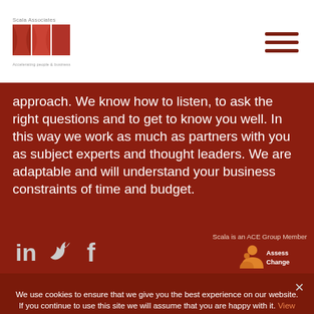[Figure (logo): Scala Associates logo with red/orange square graphic and tagline text]
approach. We know how to listen, to ask the right questions and to get to know you well. In this way we work as much as partners with you as subject experts and thought leaders. We are adaptable and will understand your business constraints of time and budget.
[Figure (infographic): LinkedIn, Twitter, and Facebook social media icons in white/grey]
Scala is an ACE Group Member
[Figure (logo): AssessChange logo with orange figure icon]
We use cookies to ensure that we give you the best experience on our website. If you continue to use this site we will assume that you are happy with it. View Privacy Policy
Ok